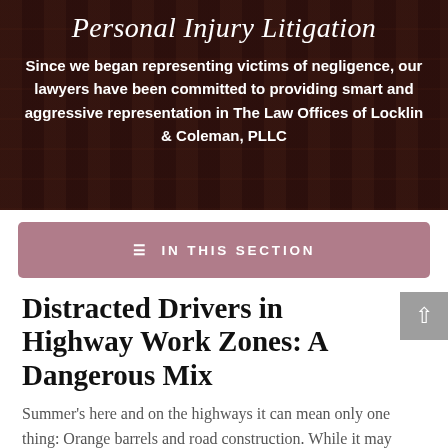[Figure (photo): Dark background hero image showing law office bookshelves/columns, overlaid with semi-transparent dark tint]
Personal Injury Litigation
Since we began representing victims of negligence, our lawyers have been committed to providing smart and aggressive representation in The Law Offices of Locklin & Coleman, PLLC
☰ IN THIS SECTION
Distracted Drivers in Highway Work Zones: A Dangerous Mix
Summer's here and on the highways it can mean only one thing: Orange barrels and road construction. While it may mean more delays and detours for drivers, it also means greater risk for construction zone workers.